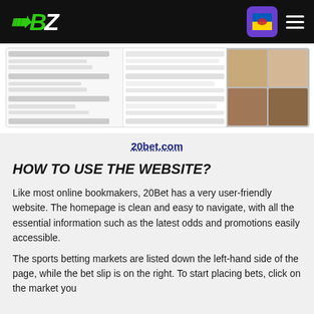[Figure (screenshot): Website navigation bar with BZ logo in green/white, Ukrainian flag icon, and hamburger menu on dark background]
[Figure (screenshot): Screenshot of 20bet.com sports betting interface showing odds table on the left and casino game thumbnails on the right]
20bet.com
HOW TO USE THE WEBSITE?
Like most online bookmakers, 20Bet has a very user-friendly website. The homepage is clean and easy to navigate, with all the essential information such as the latest odds and promotions easily accessible.
The sports betting markets are listed down the left-hand side of the page, while the bet slip is on the right. To start placing bets, click on the market you